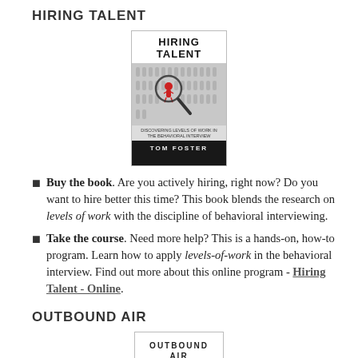HIRING TALENT
[Figure (illustration): Book cover for 'Hiring Talent' by Tom Foster, showing a magnifying glass highlighting a red figure among many, with subtitle 'Discovering Levels of Work in the Behavioral Interview']
Buy the book. Are you actively hiring, right now? Do you want to hire better this time? This book blends the research on levels of work with the discipline of behavioral interviewing.
Take the course. Need more help? This is a hands-on, how-to program. Learn how to apply levels-of-work in the behavioral interview. Find out more about this online program - Hiring Talent - Online.
OUTBOUND AIR
[Figure (illustration): Book cover for 'Outbound Air', partially visible at bottom of page]